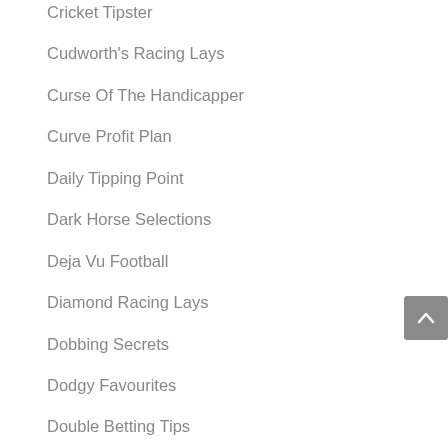Cricket Tipster
Cudworth's Racing Lays
Curse Of The Handicapper
Curve Profit Plan
Daily Tipping Point
Dark Horse Selections
Deja Vu Football
Diamond Racing Lays
Dobbing Secrets
Dodgy Favourites
Double Betting Tips
Double Chance Football
Draw Day Demolition
Draw Doubles